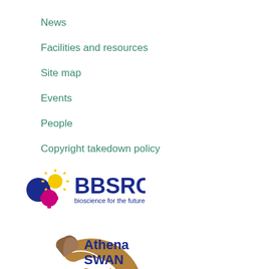News
Facilities and resources
Site map
Events
People
Copyright takedown policy
[Figure (logo): BBSRC logo - bioscience for the future]
[Figure (logo): Athena SWAN Bronze Award - ECU Gender Charter logo]